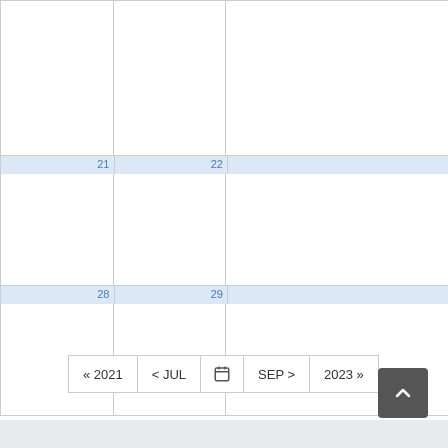[Figure (other): Calendar grid showing partial month view with dates 21, 22, 28, 29 visible, with navigation buttons at bottom (« 2021, < JUL, calendar icon, SEP >, 2023 »)]